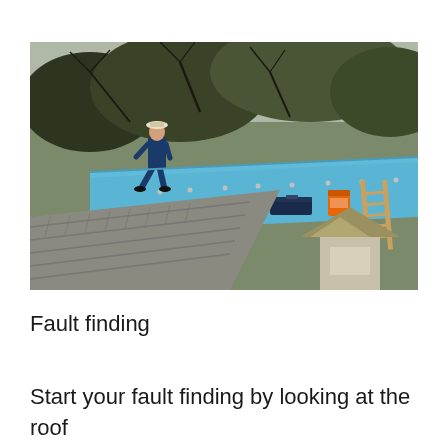[Figure (photo): A worker in blue overalls and a white hat walking on a flat blue roof under construction. Tools and an orange bucket are on the roof. In the foreground, a shingled sloped roof with a dormer and a wooden ladder leaning against the flat roof section. Background shows trees.]
Fault finding
Start your fault finding by looking at the roof